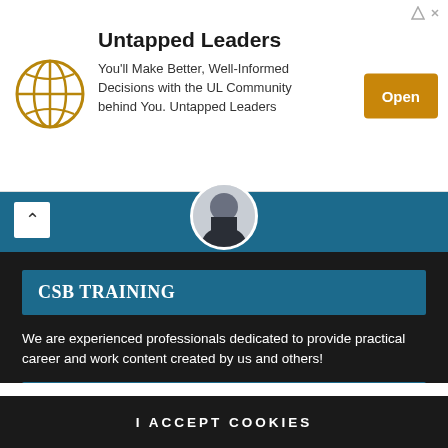[Figure (infographic): Advertisement banner for Untapped Leaders with globe logo and Open button]
Untapped Leaders
You'll Make Better, Well-Informed Decisions with the UL Community behind You. Untapped Leaders
[Figure (photo): Profile photo of a person in a suit, circular crop]
CSB TRAINING
We are experienced professionals dedicated to provide practical career and work content created by us and others!
Our website uses cookies. By using our website and agreeing to this policy, you consent to our use of cookies in accordance with the terms of this policy. If you do not consent to the use of these cookies please disable them following the instructions in this Cookie Notice so that cookies from this website cannot be placed on your device.
I ACCEPT COOKIES